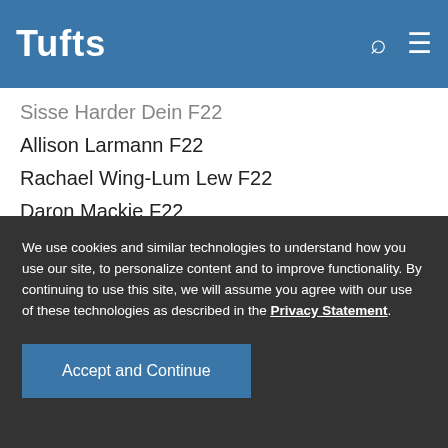Tufts
Sisse Harder Dein F22
Allison Larmann F22
Rachael Wing-Lum Lew F22
Daron Mackie F22
We use cookies and similar technologies to understand how you use our site, to personalize content and to improve functionality. By continuing to use this site, we will assume you agree with our use of these technologies as described in the Privacy Statement.
Accept and Continue